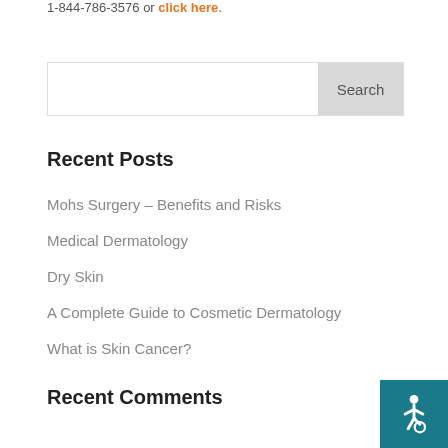1-844-786-3576 or click here.
Search
Recent Posts
Mohs Surgery – Benefits and Risks
Medical Dermatology
Dry Skin
A Complete Guide to Cosmetic Dermatology
What is Skin Cancer?
Recent Comments
[Figure (illustration): Accessibility icon (wheelchair symbol) in white on teal background, bottom-right corner]